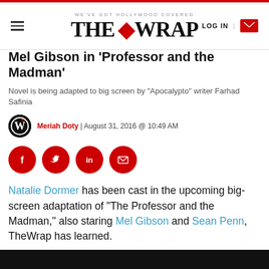WE'VE GOT HOLLYWOOD COVERED — THE WRAP — LOG IN
Mel Gibson in 'Professor and the Madman'
Novel is being adapted to big screen by "Apocalypto" writer Farhad Safinia
Meriah Doty | August 31, 2016 @ 10:49 AM
[Figure (illustration): Social share buttons: Facebook, Twitter, LinkedIn, Email — red circles with white icons]
Natalie Dormer has been cast in the upcoming big-screen adaptation of "The Professor and the Madman," also staring Mel Gibson and Sean Penn, TheWrap has learned.
The film, based on Simon Winchester's best-selling